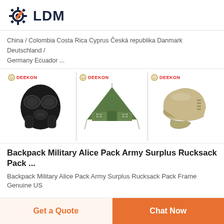[Figure (logo): LDM logo with gear and wrench icon in dark navy and orange, bold text LDM]
China / Colombia Costa Rica Cyprus Česká republika Danmark Deutschland / Germany Ecuador ...
[Figure (photo): Three product images side by side with DEEKON branding: a black military gas mask, a green army tent, and a tan tactical helmet]
Backpack Military Alice Pack Army Surplus Rucksack Pack ...
Backpack Military Alice Pack Army Surplus Rucksack Pack Frame Genuine US
Get a Quote
Chat Now